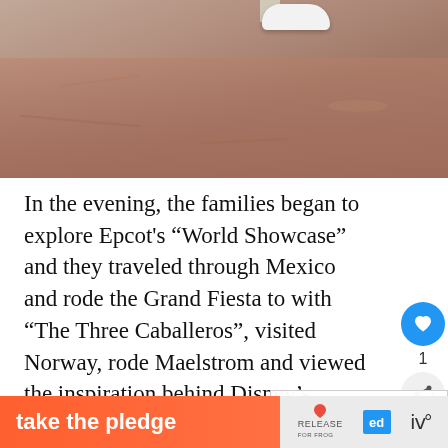[Figure (photo): Partial photo showing white shoes on a reddish-brown pavement/ground surface]
In the evening, the families began to explore Epcot's “World Showcase” and they traveled through Mexico and rode the Grand Fiesta to with “The Three Caballeros”, visited Norway, rode Maelstrom and viewed the inspiration behind Disney’s “Frozen”. They also took pictures in front of the “Forbidden Ci China, strolled through Germany and Italy, and list roc
[Figure (photo): Small thumbnail image for WHAT’S NEXT section showing people]
WHAT’S NEXT → Creating Tradition -...
take the pledge | RELEASE | ed